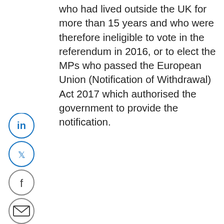who had lived outside the UK for more than 15 years and who were therefore ineligible to vote in the referendum in 2016, or to elect the MPs who passed the European Union (Notification of Withdrawal) Act 2017 which authorised the government to provide the notification.
[Figure (other): Social media share icons: LinkedIn, Twitter, Facebook, Email, Print, and a back arrow — all circular buttons on the left margin]
not based
This website uses cookies to improve your experience. We'll assume you're ok with this, but you can opt-out if you wish. Cookie settings ACCEPT
by Article
al procedure